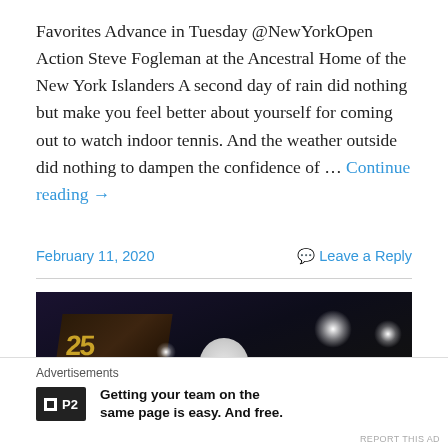Favorites Advance in Tuesday @NewYorkOpen Action Steve Fogleman at the Ancestral Home of the New York Islanders A second day of rain did nothing but make you feel better about yourself for coming out to watch indoor tennis. And the weather outside did nothing to dampen the confidence of … Continue reading →
February 11, 2020
Leave a Reply
[Figure (photo): Dark arena photo with a hooded figure in white in the center foreground, bright stage lights in the upper right, and a dark banner/sign in the upper left with partial gold text visible.]
Advertisements
Getting your team on the same page is easy. And free.